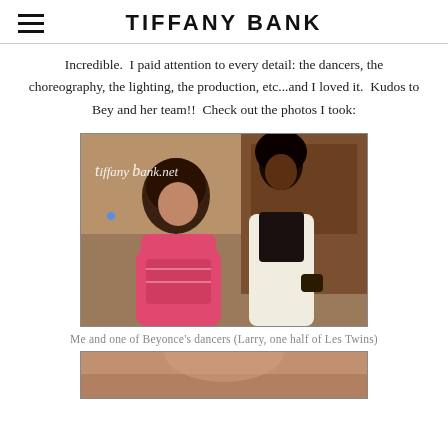TIFFANY BANK
Incredible.  I paid attention to every detail: the dancers, the choreography, the lighting, the production, etc...and I loved it.  Kudos to Bey and her team!!  Check out the photos I took:
[Figure (photo): Two people posing together indoors. One woman in a pink/patterned outfit on the left, one tall person in a white vest with dark scarf on the right. Watermark 'tiffanybank.net' in top left.]
Me and one of Beyonce's dancers (Larry, one half of Les Twins)
[Figure (photo): Partial view of another photo, partially cut off at bottom of page.]